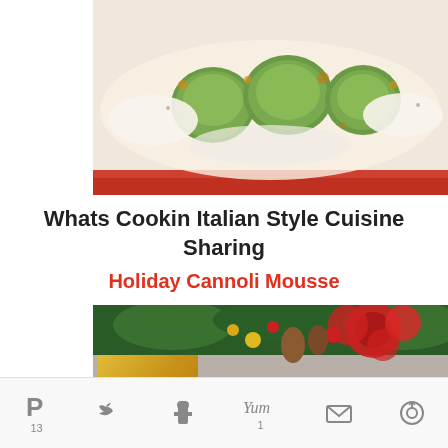[Figure (photo): Close-up photo of Italian food dish with green circular items (possibly zucchini or spinach gnudi) on a red-rimmed dish with white cream sauce and breadcrumbs]
Whats Cookin Italian Style Cuisine Sharing
Holiday Cannoli Mousse
[Figure (photo): Holiday-themed photo showing Christmas decorations with poinsettias, pine cones, gold-wrapped presents with red ribbon, and small glasses of white cannoli mousse topped with red cherry roses and chocolate chips]
13
1